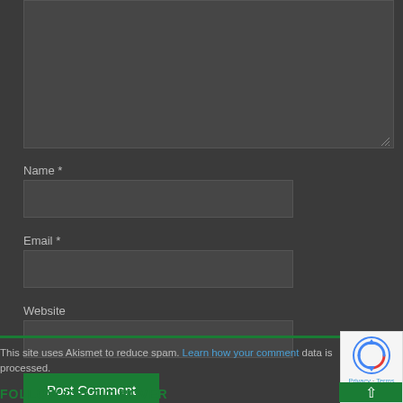[Figure (screenshot): Dark-themed web comment form showing a large textarea at the top (partially visible), then labeled fields for Name *, Email *, and Website, each with a dark input box. A green 'Post Comment' button is below the fields. A thin green horizontal bar separates the form from footer text. Footer text reads: 'This site uses Akismet to reduce spam. Learn how your comment data is processed.' A partial 'FOLLOW CELTIC ROVER' heading appears at the bottom. A reCAPTCHA badge appears in the bottom-right corner.]